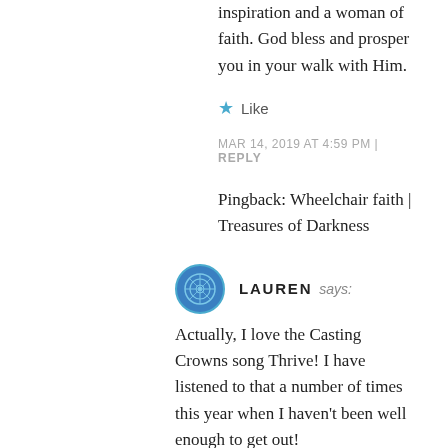inspiration and a woman of faith. God bless and prosper you in your walk with Him.
★ Like
MAR 14, 2019 AT 4:59 PM | REPLY
Pingback: Wheelchair faith | Treasures of Darkness
LAUREN says:
Actually, I love the Casting Crowns song Thrive! I have listened to that a number of times this year when I haven't been well enough to get out!